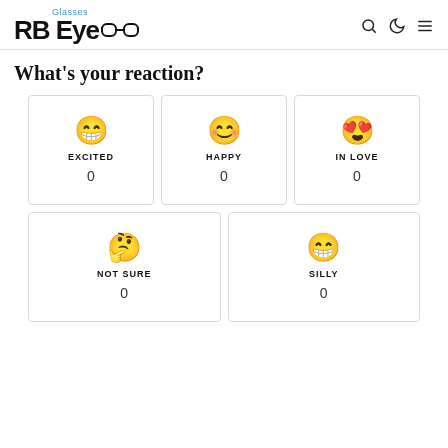RB EyeGlasses — navigation header with search, dark mode, and menu icons
What's your reaction?
[Figure (infographic): Grid of 5 reaction cards: EXCITED (😁, 0), HAPPY (😊, 0), IN LOVE (😍, 0), NOT SURE (🤔, 0), SILLY (😁, 0)]